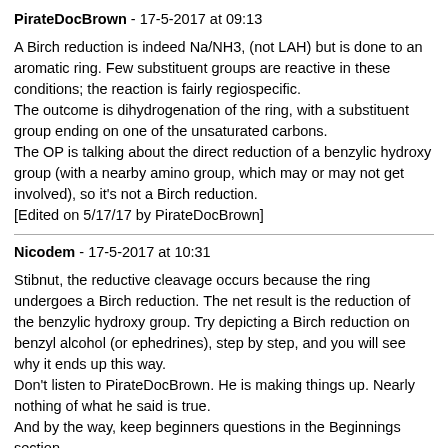PirateDocBrown - 17-5-2017 at 09:13
A Birch reduction is indeed Na/NH3, (not LAH) but is done to an aromatic ring. Few substituent groups are reactive in these conditions; the reaction is fairly regiospecific.
The outcome is dihydrogenation of the ring, with a substituent group ending on one of the unsaturated carbons.
The OP is talking about the direct reduction of a benzylic hydroxy group (with a nearby amino group, which may or may not get involved), so it's not a Birch reduction.
[Edited on 5/17/17 by PirateDocBrown]
Nicodem - 17-5-2017 at 10:31
Stibnut, the reductive cleavage occurs because the ring undergoes a Birch reduction. The net result is the reduction of the benzylic hydroxy group. Try depicting a Birch reduction on benzyl alcohol (or ephedrines), step by step, and you will see why it ends up this way.
Don't listen to PirateDocBrown. He is making things up. Nearly nothing of what he said is true.
And by the way, keep beginners questions in the Beginnings section.